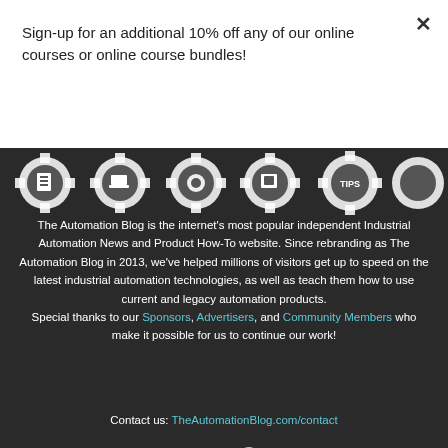Sign-up for an additional 10% off any of our online courses or online course bundles!
Subscribe
[Figure (illustration): Dark background with white industrial gear icons in a horizontal strip, showing symbols including document, laptop, globe, monitor, TIPS text, and other automation-related icons.]
The Automation Blog is the internet's most popular independent Industrial Automation News and Product How-To website. Since rebranding as The Automation Blog in 2013, we've helped millions of visitors get up to speed on the latest industrial automation technologies, as well as teach them how to use current and legacy automation products. Special thanks to our Sponsors, Advertisers, and Community Members who make it possible for us to continue our work!
Contact us: TheAutomationBlog.com/contact
[Figure (illustration): Row of social media icons: LinkedIn, PayPal/P, RSS feed, Spotify, Vimeo, YouTube]